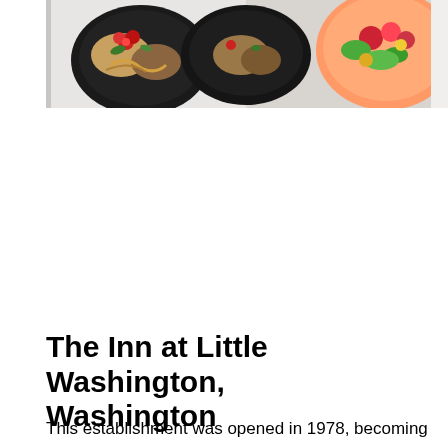[Figure (photo): Overhead photo of Japanese-style food in black bowls/containers, with colorful ingredients including what appears to be sushi rolls with red garnish, mixed vegetables, and a colorful bowl with green and red toppings on the right side.]
The Inn at Little Washington, Washington
This establishment was opened in 1978, becoming very popular among its visitors. The atmosphere of the restaurant is designed in the homely style, keeping the